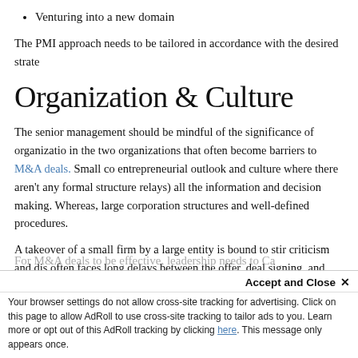Venturing into a new domain
The PMI approach needs to be tailored in accordance with the desired strate
Organization & Culture
The senior management should be mindful of the significance of organizatio in the two organizations that often become barriers to M&A deals. Small co entrepreneurial outlook and culture where there aren't any formal structure relays) all the information and decision making. Whereas, large corporation structures and well-defined procedures.
A takeover of a small firm by a large entity is bound to stir criticism and dis often faces long delays between the offer, deal signing, and closing — due t management's indecisiveness — triggering suspicion among people. This sh the PMI process by orienting the people of the small firm with the new cult transition effectively.
For M&A deals to be effective, leadership needs to Ca
Accept and Close ✕
Your browser settings do not allow cross-site tracking for advertising. Click on this page to allow AdRoll to use cross-site tracking to tailor ads to you. Learn more or opt out of this AdRoll tracking by clicking here. This message only appears once.